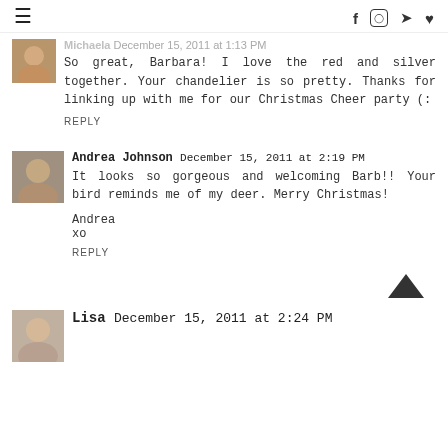≡   f  [instagram]  [twitter]  [heart]
Michaela December 15, 2011 at 1:13 PM
So great, Barbara! I love the red and silver together. Your chandelier is so pretty. Thanks for linking up with me for our Christmas Cheer party (:
REPLY
Andrea Johnson December 15, 2011 at 2:19 PM
It looks so gorgeous and welcoming Barb!! Your bird reminds me of my deer. Merry Christmas!
Andrea
xo
REPLY
Lisa December 15, 2011 at 2:24 PM